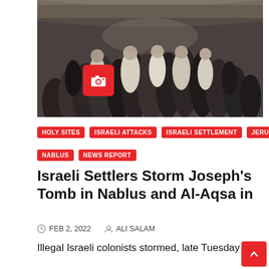[Figure (photo): A crowd of people in a narrow stone passageway, many dressed in white or black clothing. A red camera icon badge is overlaid on the lower-left of the image.]
HOLY SITES
ISRAELI ATTACKS
ISRAELI SETTLEMENT
JERUSALEM
NABLUS
NEWS REPORT
Israeli Settlers Storm Joseph's Tomb in Nablus and Al-Aqsa in
FEB 2, 2022   ALI SALAM
Illegal Israeli colonists stormed, late Tuesday night, Joseph's tomb in the northern occupied West Bank